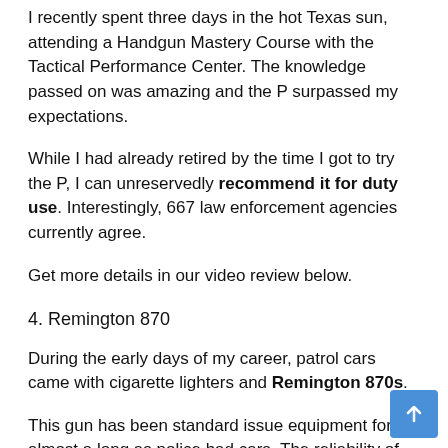I recently spent three days in the hot Texas sun, attending a Handgun Mastery Course with the Tactical Performance Center. The knowledge passed on was amazing and the P surpassed my expectations.
While I had already retired by the time I got to try the P, I can unreservedly recommend it for duty use. Interestingly, 667 law enforcement agencies currently agree.
Get more details in our video review below.
4. Remington 870
During the early days of my career, patrol cars came with cigarette lighters and Remington 870s.
This gun has been standard issue equipment for almost as long as police had cars. The reliability of the pump-action